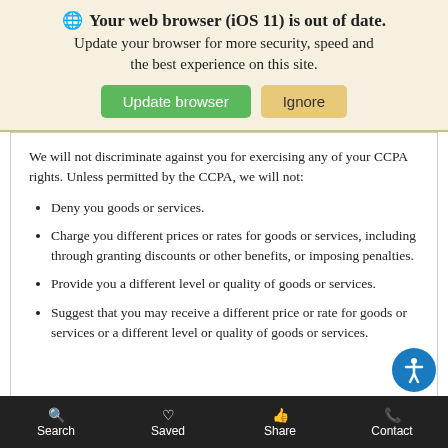[Figure (screenshot): Browser update banner with globe icon, bold title 'Your web browser (iOS 11) is out of date.', subtitle text, and two buttons: green 'Update browser' and tan 'Ignore'.]
We will not discriminate against you for exercising any of your CCPA rights. Unless permitted by the CCPA, we will not:
Deny you goods or services.
Charge you different prices or rates for goods or services, including through granting discounts or other benefits, or imposing penalties.
Provide you a different level or quality of goods or services.
Suggest that you may receive a different price or rate for goods or services or a different level or quality of goods or services.
Search   Saved   Share   Contact